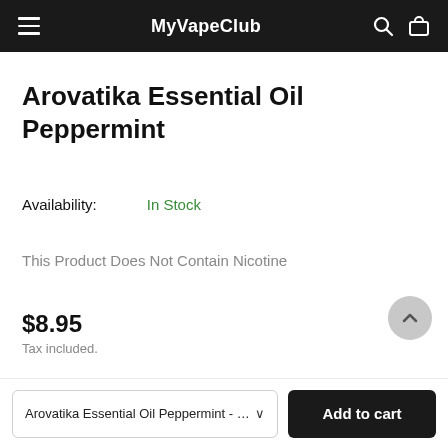MyVapeClub
Arovatika Essential Oil Peppermint
Availability: In Stock
This Product Does Not Contain Nicotine
$8.95 Tax included.
Select Option: Arovatika Essential Oil Peppermint
Arovatika Essential Oil Peppermint - $8.95
Add to cart